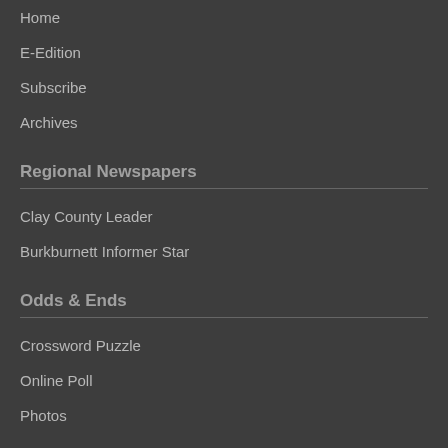Home
E-Edition
Subscribe
Archives
Regional Newspapers
Clay County Leader
Burkburnett Informer Star
Odds & Ends
Crossword Puzzle
Online Poll
Photos